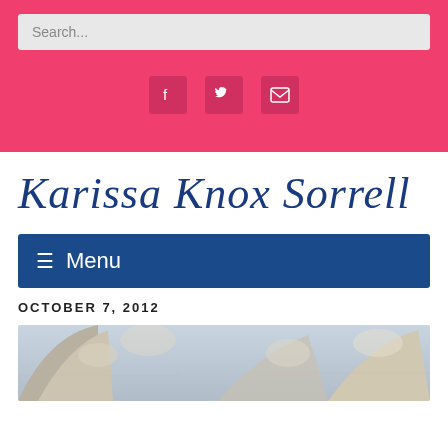Search...
[Figure (infographic): Social media icons: Facebook, Twitter, Email on pink background]
Karissa Knox Sorrell
≡ Menu
OCTOBER 7, 2012
[Figure (photo): Architectural detail showing ornate stone archway and decorative carvings]